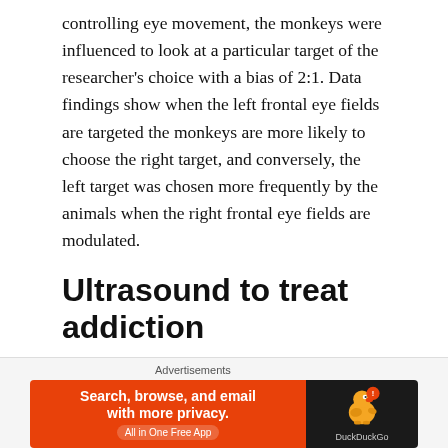controlling eye movement, the monkeys were influenced to look at a particular target of the researcher's choice with a bias of 2:1. Data findings show when the left frontal eye fields are targeted the monkeys are more likely to choose the right target, and conversely, the left target was chosen more frequently by the animals when the right frontal eye fields are modulated.
Ultrasound to treat addiction
The lab states they learned many crucial factors expected to aid in the development of neurostimulation devices capable of controlling a subject to administer psychiatric
[Figure (other): DuckDuckGo advertisement banner: orange left side with text 'Search, browse, and email with more privacy. All in One Free App' and dark right side with DuckDuckGo duck logo and brand name. Labeled 'Advertisements'.]